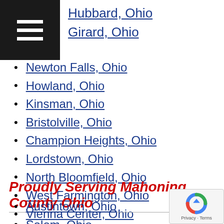[Figure (other): Hamburger menu icon (three white horizontal bars on black background)]
Hubbard, Ohio
Girard, Ohio
Newton Falls, Ohio
Howland, Ohio
Kinsman, Ohio
Bristolville, Ohio
Champion Heights, Ohio
Lordstown, Ohio
North Bloomfield, Ohio
West Farmington, Ohio
Vienna Center, Ohio
Gustavus, Ohio
Liberty, Ohio
Vernon, Ohio
Proudly Serving Mahoning County Ohio
Austintown, Ohio
Salem, Ohio
Columbiana, Ohio
[Figure (logo): reCAPTCHA badge with blue/red logo and Privacy - Terms text]